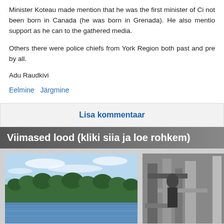Minister Koteau made mention that he was the first minister of Ci not been born in Canada (he was born in Grenada). He also mentio support as he can to the gathered media.
Others there were police chiefs from York Region both past and pre by all.
Adu Raudkivi
Eelmine   Järgmine
Lisa kommentaar
Viimased lood (kliki siia ja loe rohkem)
[Figure (photo): A landscape photo of a lake with forested banks and blue sky with clouds]
[Figure (photo): A black and white photo of a person near industrial equipment or pipes]